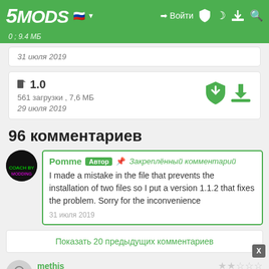5MODS | Войти
0 ; 9.4 МБ
31 июля 2019
1.0
561 загрузки , 7,6 МБ
29 июля 2019
96 комментариев
Pomme Автор 📌 Закреплённый комментарий
I made a mistake in the file that prevents the installation of two files so I put a version 1.1.2 that fixes the problem. Sorry for the inconvenience
31 июля 2019
Показать 20 предыдущих комментариев
methis
I need for rage.mp